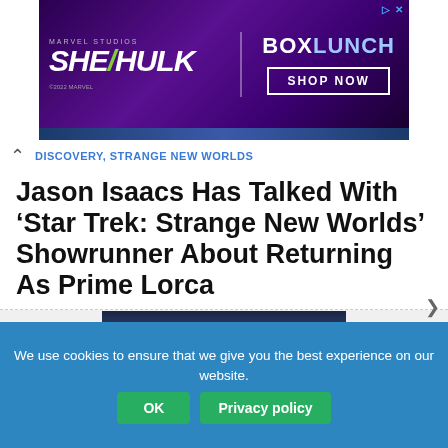[Figure (screenshot): Marvel Studios She-Hulk advertisement banner with BoxLunch Shop Now promotion, purple background]
DISCOVERY, STRANGE NEW WORLDS
Jason Isaacs Has Talked With 'Star Trek: Strange New Worlds' Showrunner About Returning As Prime Lorca
[Figure (photo): Star Trek Discovery promotional image showing a woman in red jacket on the bridge, with Star Trek Discovery logo overlay]
Sonequa Martin-Green Responds To 'Star Trek: Discovery' Critics, Says No Endgame
We use cookies to ensure that we give you the best experience on our website.
OK   Privacy policy